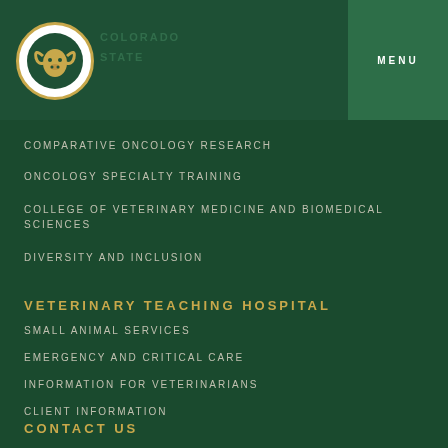COLORADO STATE UNIVERSITY
COMPARATIVE ONCOLOGY RESEARCH
ONCOLOGY SPECIALTY TRAINING
COLLEGE OF VETERINARY MEDICINE AND BIOMEDICAL SCIENCES
DIVERSITY AND INCLUSION
VETERINARY TEACHING HOSPITAL
SMALL ANIMAL SERVICES
EMERGENCY AND CRITICAL CARE
INFORMATION FOR VETERINARIANS
CLIENT INFORMATION
CONTACT US